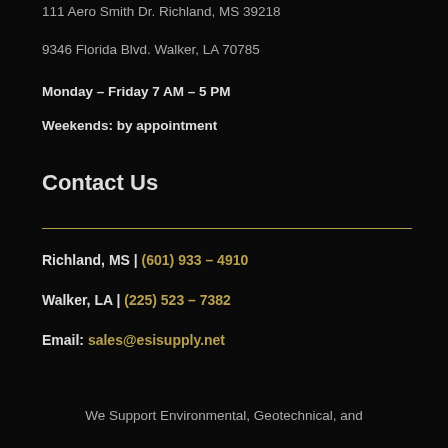111 Aero Smith Dr. Richland, MS 39218
9346 Florida Blvd. Walker, LA 70785
Monday – Friday  7 AM – 5 PM
Weekends: by appointment
Contact Us
Richland, MS | (601) 933 – 4910
Walker, LA | (225) 523 – 7382
Email: sales@esisupply.net
We Support Environmental, Geotechnical, and Directional Drilling Markets